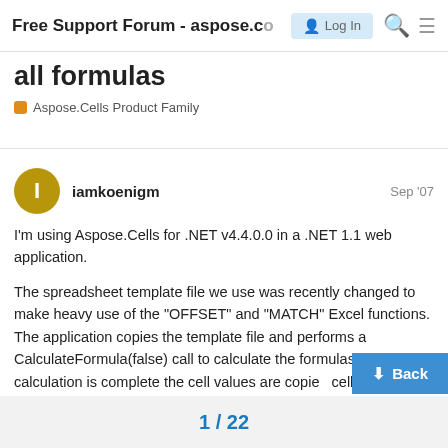Free Support Forum - aspose.com
all formulas
Aspose.Cells Product Family
iamkoenigm  Sep '07
I'm using Aspose.Cells for .NET v4.4.0.0 in a .NET 1.1 web application.
The spreadsheet template file we use was recently changed to make heavy use of the "OFFSET" and "MATCH" Excel functions. The application copies the template file and performs a CalculateFormula(false) call to calculate the formulas. After the calculation is complete the cell values are copied cell to another copy of a "breakout" spreadsheet source template spreadsheet in Excel, I s
Back
1 / 22